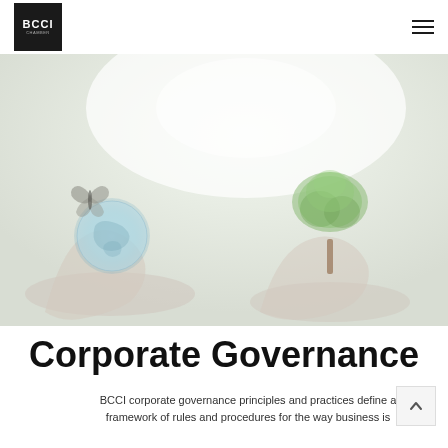BCCI
[Figure (photo): Two hands holding objects against a soft white-green background: left hand holds a translucent globe with a butterfly above it, right hand holds a small green tree/bonsai. The overall scene evokes environmental and sustainability themes.]
Corporate Governance
BCCI corporate governance principles and practices define a framework of rules and procedures for the way business is